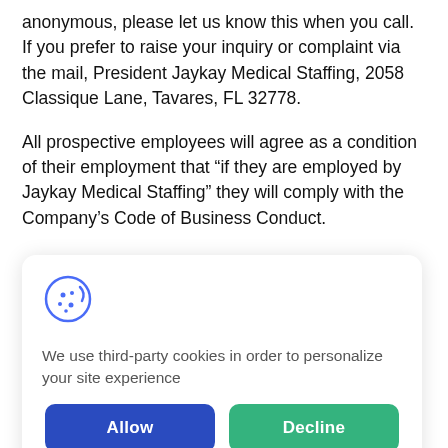anonymous, please let us know this when you call. If you prefer to raise your inquiry or complaint via the mail, President Jaykay Medical Staffing, 2058 Classique Lane, Tavares, FL 32778.
All prospective employees will agree as a condition of their employment that “if they are employed by Jaykay Medical Staffing” they will comply with the Company’s Code of Business Conduct.
[Figure (screenshot): Cookie consent popup overlay with cookie icon, text 'We use third-party cookies in order to personalize your site experience', and two buttons: Allow (blue) and Decline (green).]